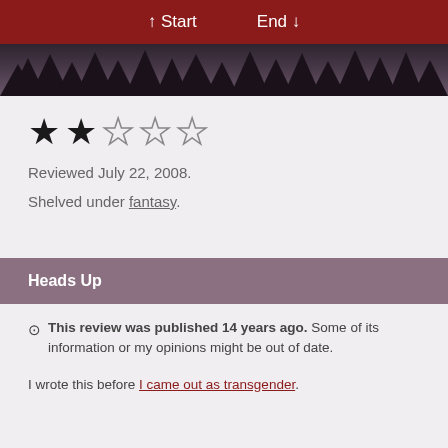↑ Start   End ↓
[Figure (photo): Dark silhouette of trees against a dusky purple-grey sky, serving as a hero/banner image strip.]
★★☆☆☆ (2 out of 5 stars)
Reviewed July 22, 2008.
Shelved under fantasy.
Heads Up
⊙ This review was published 14 years ago. Some of its information or my opinions might be out of date.
I wrote this before I came out as transgender.